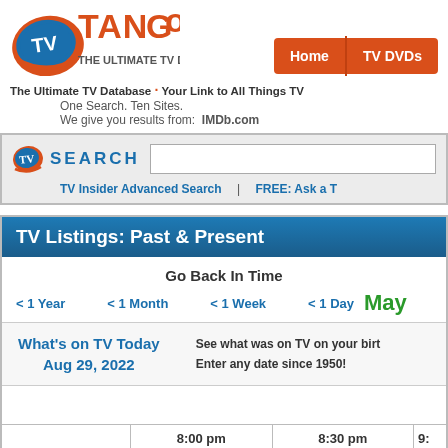[Figure (logo): TV Tango logo with orange TV circle icon and styled red/orange 'TANGO' text]
The Ultimate TV Database · Your Link to All Things TV
One Search. Ten Sites.
We give you results from: IMDb.com
Home   TV DVDs
SEARCH
TV Insider Advanced Search | FREE: Ask a T
TV Listings: Past & Present
Go Back In Time
< 1 Year   < 1 Month   < 1 Week   < 1 Day   May
What's on TV Today
Aug 29, 2022
See what was on TV on your birt
Enter any date since 1950!
8:00 pm   8:30 pm   9: